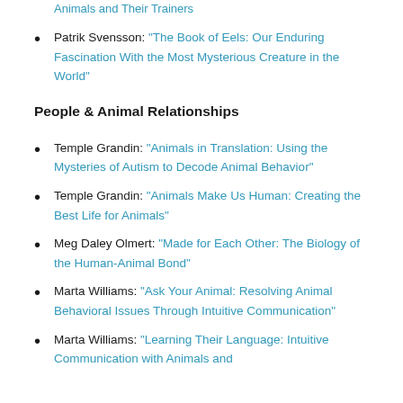Patrik Svensson: "The Book of Eels: Our Enduring Fascination With the Most Mysterious Creature in the World"
People & Animal Relationships
Temple Grandin: "Animals in Translation: Using the Mysteries of Autism to Decode Animal Behavior"
Temple Grandin: "Animals Make Us Human: Creating the Best Life for Animals"
Meg Daley Olmert: "Made for Each Other: The Biology of the Human-Animal Bond"
Marta Williams: "Ask Your Animal: Resolving Animal Behavioral Issues Through Intuitive Communication"
Marta Williams: "Learning Their Language: Intuitive Communication with Animals and